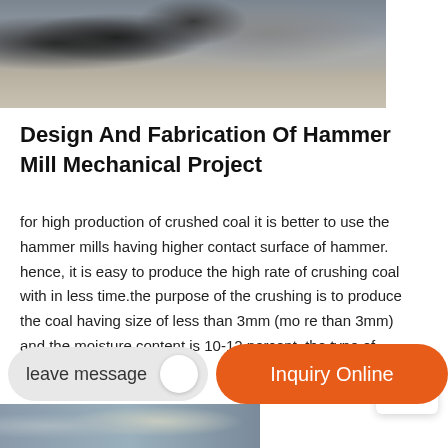[Figure (photo): Industrial hammer mill machinery equipment at a facility, showing large cylindrical equipment, metal structures, ladders, and a building in the background on a dirt/concrete ground.]
Design And Fabrication Of Hammer Mill Mechanical Project
for high production of crushed coal it is better to use the hammer mills having higher contact surface of hammer. hence, it is easy to produce the high rate of crushing coal with in less time.the purpose of the crushing is to produce the coal having size of less than 3mm (more than 3mm) and the moisture content is 10-12 percent .the type of hammer mill used is a